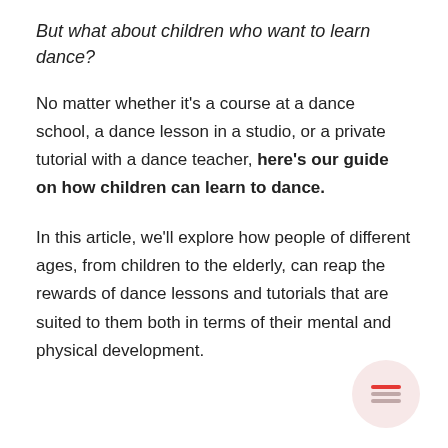But what about children who want to learn dance?
No matter whether it’s a course at a dance school, a dance lesson in a studio, or a private tutorial with a dance teacher, here’s our guide on how children can learn to dance.
In this article, we’ll explore how people of different ages, from children to the elderly, can reap the rewards of dance lessons and tutorials that are suited to them both in terms of their mental and physical development.